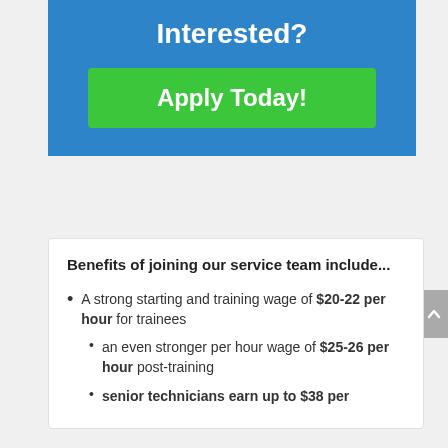Interested?
Apply Today!
Benefits of joining our service team include...
A strong starting and training wage of $20-22 per hour for trainees
an even stronger per hour wage of $25-26 per hour post-training
senior technicians earn up to $38 per